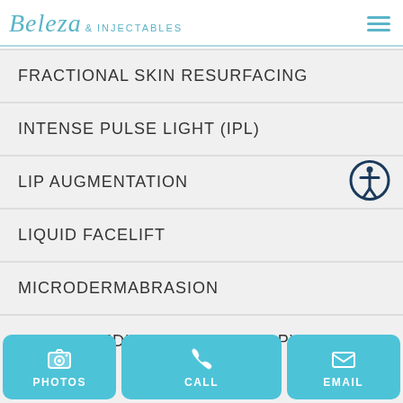Beleza & INJECTABLES
FRACTIONAL SKIN RESURFACING
INTENSE PULSE LIGHT (IPL)
LIP AUGMENTATION
LIQUID FACELIFT
MICRODERMABRASION
MICRONEEDLING SKIN THERAPY
PHOTOS  CALL  EMAIL